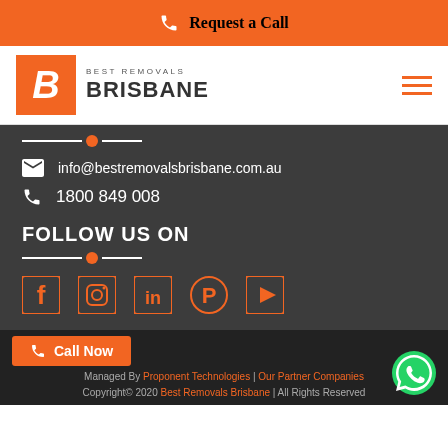Request a Call
[Figure (logo): Best Removals Brisbane logo with orange B box and hamburger menu icon]
info@bestremovalsbrisbane.com.au
1800 849 008
FOLLOW US ON
[Figure (infographic): Social media icons: Facebook, Instagram, LinkedIn, Pinterest, YouTube]
Managed By Proponent Technologies | Our Partner Companies
Copyright© 2020 Best Removals Brisbane | All Rights Reserved